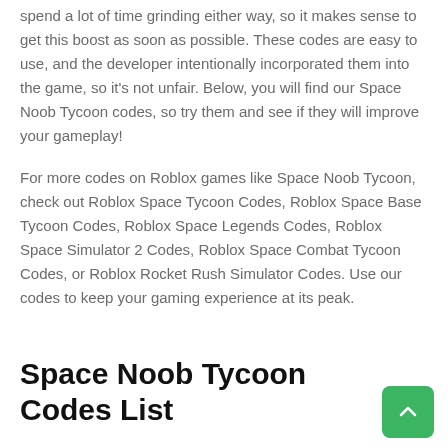spend a lot of time grinding either way, so it makes sense to get this boost as soon as possible. These codes are easy to use, and the developer intentionally incorporated them into the game, so it's not unfair. Below, you will find our Space Noob Tycoon codes, so try them and see if they will improve your gameplay!
For more codes on Roblox games like Space Noob Tycoon, check out Roblox Space Tycoon Codes, Roblox Space Base Tycoon Codes, Roblox Space Legends Codes, Roblox Space Simulator 2 Codes, Roblox Space Combat Tycoon Codes, or Roblox Rocket Rush Simulator Codes. Use our codes to keep your gaming experience at its peak.
Space Noob Tycoon Codes List
Space Noob Tycoon Codes